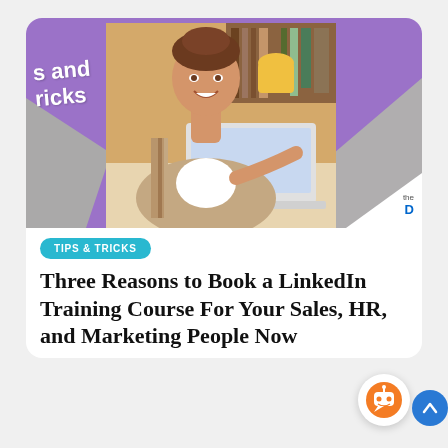[Figure (photo): Blog card image with purple and grey geometric shapes and a woman smiling at a laptop on a desk with books/shelves in the background. Diagonal design elements in purple and grey. Overlay text reads 's and ricks' (partial: 'tips and tricks').]
TIPS & TRICKS
Three Reasons to Book a LinkedIn Training Course For Your Sales, HR, and Marketing People Now